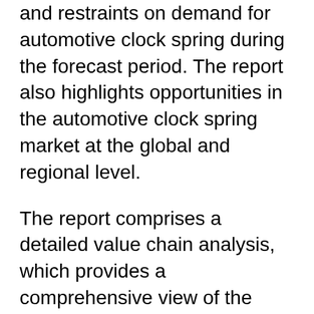and restraints on demand for automotive clock spring during the forecast period. The report also highlights opportunities in the automotive clock spring market at the global and regional level.
The report comprises a detailed value chain analysis, which provides a comprehensive view of the global automotive clock spring market. Porter's Five Forces model for the automotive clock spring market has also been included to help understand the competitive landscape in the market. The study encompasses market attractiveness analysis, wherein end-users are benchmarked based on their market size, growth rate, and general attractiveness.